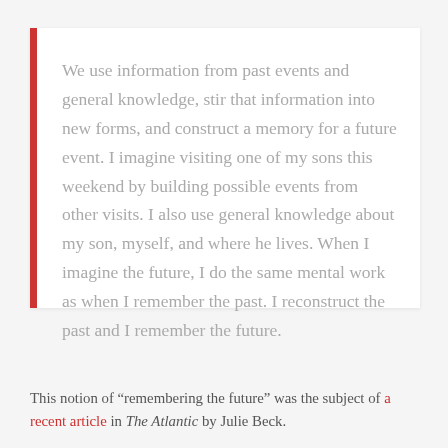We use information from past events and general knowledge, stir that information into new forms, and construct a memory for a future event. I imagine visiting one of my sons this weekend by building possible events from other visits. I also use general knowledge about my son, myself, and where he lives. When I imagine the future, I do the same mental work as when I remember the past. I reconstruct the past and I remember the future.
This notion of “remembering the future” was the subject of a recent article in The Atlantic by Julie Beck.